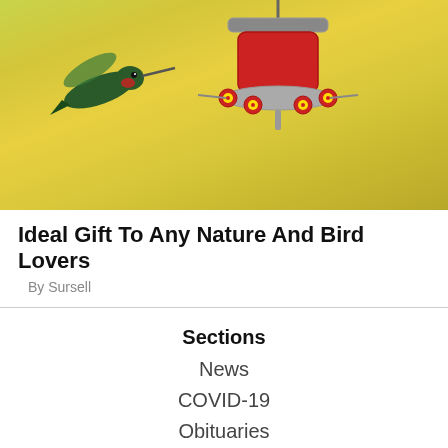[Figure (photo): A hummingbird feeder with red flower ports against a yellow-green background, with a hummingbird visible on the left side.]
Ideal Gift To Any Nature And Bird Lovers
By Sursell
Sections
News
COVID-19
Obituaries
Wahkiakum People
Opinion
Sports
Sheriffs Report